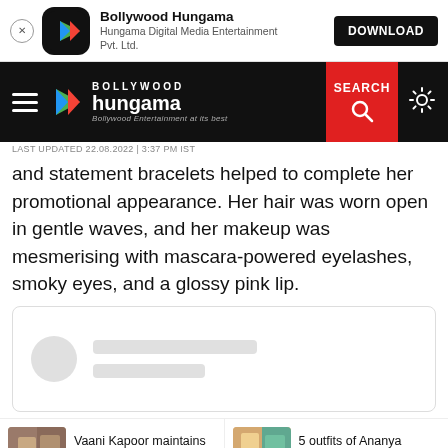[Figure (screenshot): Bollywood Hungama app download banner with app icon, name, subtitle and DOWNLOAD button]
[Figure (screenshot): Bollywood Hungama website navigation bar with hamburger menu, logo, SEARCH button in red, and settings gear icon]
LAST UPDATED 22.08.2022 | 3:37 PM IST
and statement bracelets helped to complete her promotional appearance. Her hair was worn open in gentle waves, and her makeup was mesmerising with mascara-powered eyelashes, smoky eyes, and a glossy pink lip.
[Figure (other): Loading placeholder card with grey circle and two grey lines]
Vaani Kapoor maintains simple yet elegant look in an all-black...
5 outfits of Ananya Panday from Liger promotions that had ...